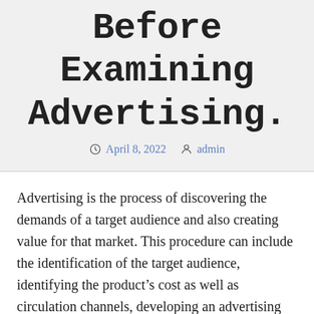Before Examining Advertising.
April 8, 2022   admin
Advertising is the process of discovering the demands of a target audience and also creating value for that market. This procedure can include the identification of the target audience, identifying the product's cost as well as circulation channels, developing an advertising strategy, as well as developing